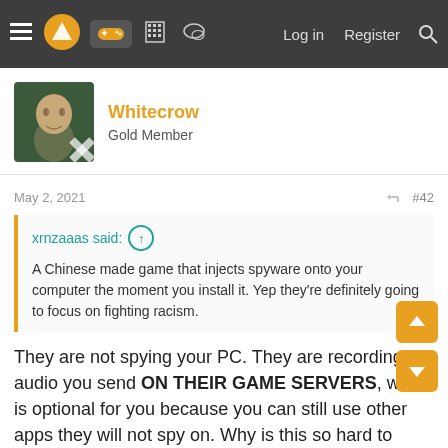Navigation bar with menu, logo, gamepad icon, building icon, chat icon, Log in, Register, Search
Whitecrow
Gold Member
May 2, 2021  #42
xrnzaaas said: A Chinese made game that injects spyware onto your computer the moment you install it. Yep they're definitely going to focus on fighting racism.
They are not spying your PC. They are recording the audio you send ON THEIR GAME SERVERS, which is optional for you because you can still use other apps they will not spy on. Why is this so hard to understand.
Banjo64
Member